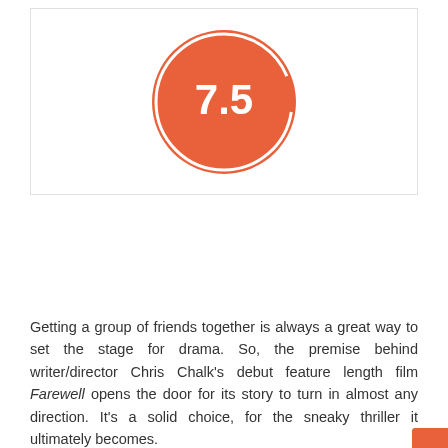[Figure (other): Score indicator: orange filled circle with white inner ring showing the score 7.5 in white text, set inside a white box with light border]
Getting a group of friends together is always a great way to set the stage for drama. So, the premise behind writer/director Chris Chalk's debut feature length film Farewell opens the door for its story to turn in almost any direction. It's a solid choice, for the sneaky thriller it ultimately becomes.